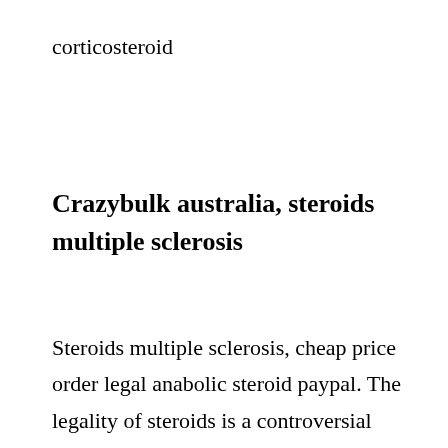corticosteroid
Crazybulk australia, steroids multiple sclerosis
Steroids multiple sclerosis, cheap price order legal anabolic steroid paypal. The legality of steroids is a controversial subject across the world. In certain areas, for example, in the US, using or featuring any anabolic steroid